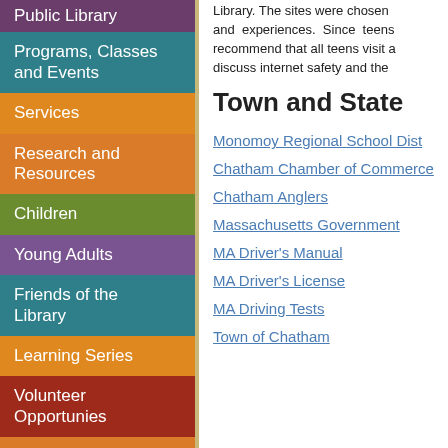Public Library
Programs, Classes and Events
Services
Research and Resources
Children
Young Adults
Friends of the Library
Learning Series
Volunteer Opportunies
Meeting R...
Library. The sites were chosen and experiences. Since teens recommend that all teens visit a discuss internet safety and the
Town and State
Monomoy Regional School Dist
Chatham Chamber of Commerce
Chatham Anglers
Massachusetts Government
MA Driver's Manual
MA Driver's License
MA Driving Tests
Town of Chatham